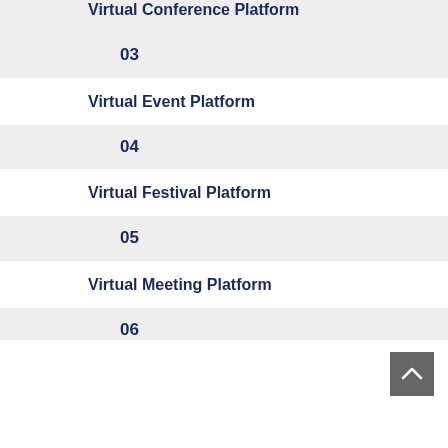Virtual Conference Platform
03
Virtual Event Platform
04
Virtual Festival Platform
05
Virtual Meeting Platform
06